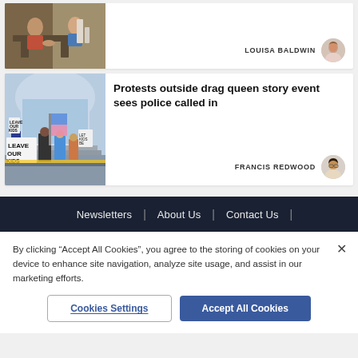[Figure (photo): Partial view of article image showing people seated at a table]
LOUISA BALDWIN
[Figure (photo): Author avatar of Louisa Baldwin]
[Figure (photo): Protest photo showing people holding signs reading LEAVE OUR KIDS ALONE outside a building]
Protests outside drag queen story event sees police called in
FRANCIS REDWOOD
[Figure (photo): Author avatar of Francis Redwood]
Newsletters | About Us | Contact Us |
By clicking “Accept All Cookies”, you agree to the storing of cookies on your device to enhance site navigation, analyze site usage, and assist in our marketing efforts.
Cookies Settings
Accept All Cookies